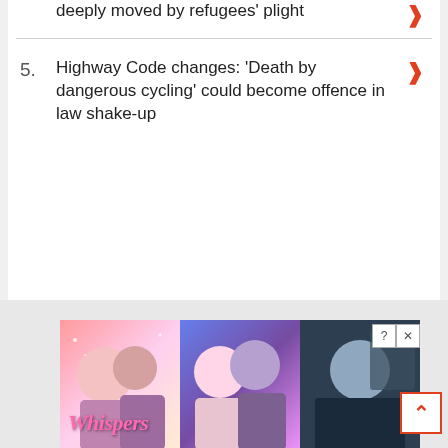deeply moved by refugees' plight
5. Highway Code changes: 'Death by dangerous cycling' could become offence in law shake-up
[Figure (screenshot): Advertisement banner for 'Whispers' interactive story app showing romantic illustrated characters with close and info buttons]